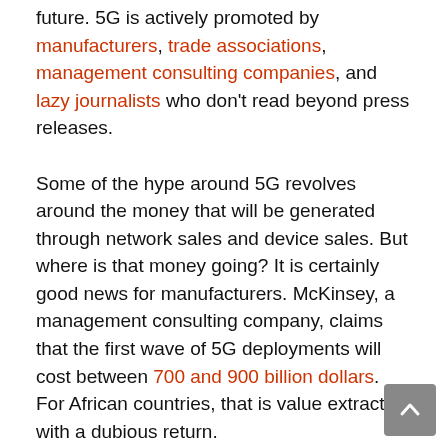future. 5G is actively promoted by manufacturers, trade associations, management consulting companies, and lazy journalists who don't read beyond press releases.
Some of the hype around 5G revolves around the money that will be generated through network sales and device sales. But where is that money going? It is certainly good news for manufacturers. McKinsey, a management consulting company, claims that the first wave of 5G deployments will cost between 700 and 900 billion dollars. For African countries, that is value extraction with a dubious return.
The issue of where value is created in telecommunications networks and who benefits is an absolutely critical issue. For 5G, manufacturers will certainly benefit. For 5G spectrum, many governments are planning to benefit from spectrum